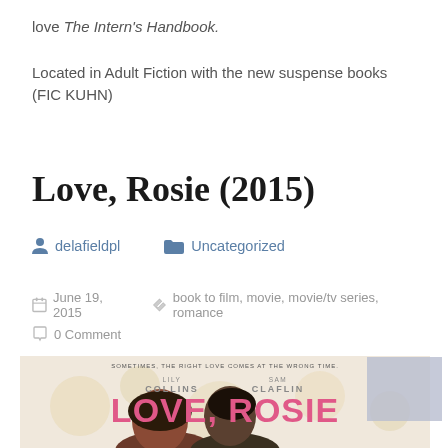love The Intern's Handbook.
Located in Adult Fiction with the new suspense books (FIC KUHN)
Love, Rosie (2015)
delafieldpl   Uncategorized
June 19, 2015   book to film, movie, movie/tv series, romance   0 Comment
[Figure (photo): Movie poster for Love, Rosie (2015) showing Lily Collins and Sam Claflin with text 'SOMETIMES, THE RIGHT LOVE COMES AT THE WRONG TIME. LILY COLLINS SAM CLAFLIN LOVE, ROSIE']